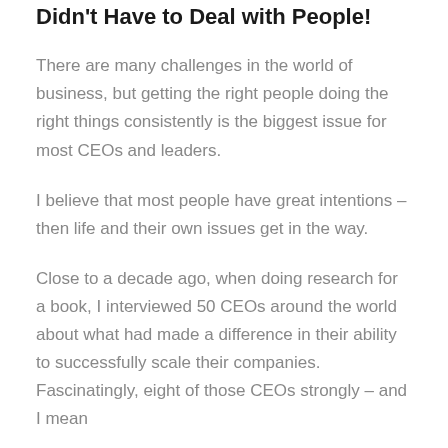Didn't Have to Deal with People!
There are many challenges in the world of business, but getting the right people doing the right things consistently is the biggest issue for most CEOs and leaders.
I believe that most people have great intentions – then life and their own issues get in the way.
Close to a decade ago, when doing research for a book, I interviewed 50 CEOs around the world about what had made a difference in their ability to successfully scale their companies. Fascinatingly, eight of those CEOs strongly – and I mean